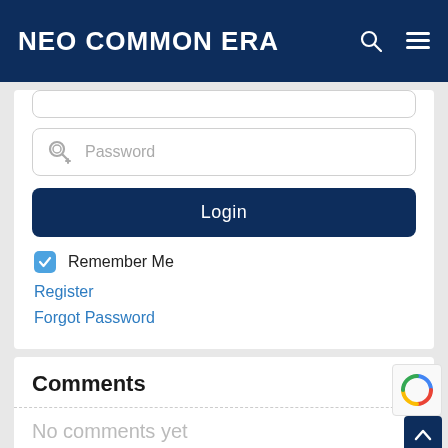NEO COMMON ERA
[Figure (screenshot): Password input field with key icon and placeholder text 'Password']
Login
Remember Me
Register
Forgot Password
Comments
No comments yet